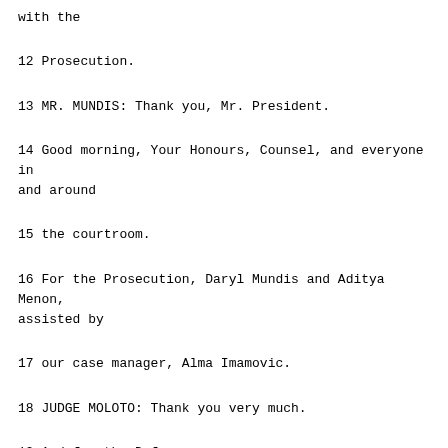with the
12 Prosecution.
13 MR. MUNDIS: Thank you, Mr. President.
14 Good morning, Your Honours, Counsel, and everyone in and around
15 the courtroom.
16 For the Prosecution, Daryl Mundis and Aditya Menon, assisted by
17 our case manager, Alma Imamovic.
18 JUDGE MOLOTO: Thank you very much.
19 And for the Defence.
20 MS. VIDOVIC: [Interpretation] Good morning, Your Honours. Good
21 morning to my learned friends from the OTP, everyone in and around the
22 courtroom.
23 Vasvija Vidovic and Nicholas Robson for General Delic. Lana
24 Delikic is our case manager. Thank you.